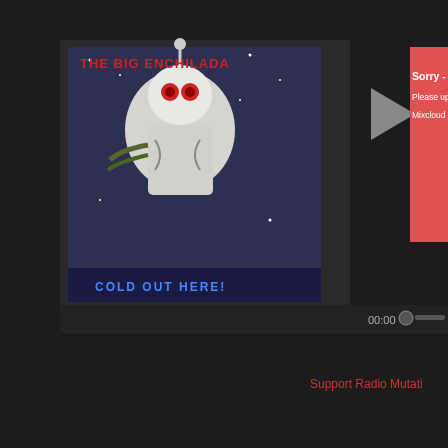[Figure (screenshot): Mixcloud audio player UI on dark background. Left side shows album art for 'The Big Enchilada' podcast with text 'COLD OUT HERE!' and a robot/alien figure in snow. Center shows a play button triangle. Right side shows a red error banner with text 'Sorry - your browser is not supported', 'Please update your browser or install anoth', 'Mixcloud requires HTML5 audio with MP3 a'. A timeline shows 00:00. Below that is red text 'Support Radio Mutati'. Bottom right shows a purple-background logo/image with 'RADIO MUT' text arc and a skull with crossbones graphic.]